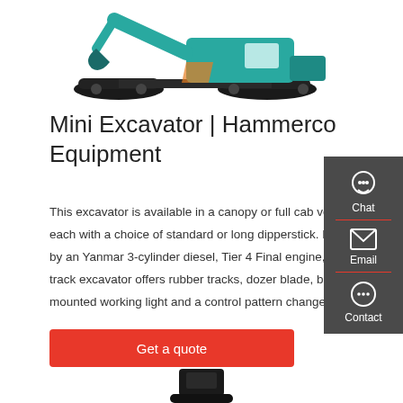[Figure (photo): Teal/green tracked excavator (large crawler excavator) shown from the side, on white background]
Mini Excavator | Hammerco Equipment
This excavator is available in a canopy or full cab version, each with a choice of standard or long dipperstick. Powered by an Yanmar 3-cylinder diesel, Tier 4 Final engine, the EZ2 track excavator offers rubber tracks, dozer blade, boom-mounted working light and a control pattern change system.
[Figure (other): Red 'Get a quote' button]
[Figure (photo): Bottom partial view of a small excavator or attachment, black, cropped at bottom of page]
[Figure (infographic): Dark grey sidebar with Chat (headset icon), Email (envelope icon), and Contact (speech bubble icon) buttons]